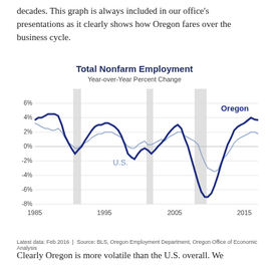decades. This graph is always included in our office's presentations as it clearly shows how Oregon fares over the business cycle.
[Figure (line-chart): Line chart showing Total Nonfarm Employment year-over-year percent change for Oregon (dark blue) and U.S. (light blue) from 1985 to 2016. Oregon is more volatile, dropping to nearly -7% during the Great Recession and peaking near 5% in the late 1980s.]
Latest data: Feb 2016  |  Source: BLS, Oregon Employment Department, Oregon Office of Economic Analysis
Clearly Oregon is more volatile than the U.S. overall. We